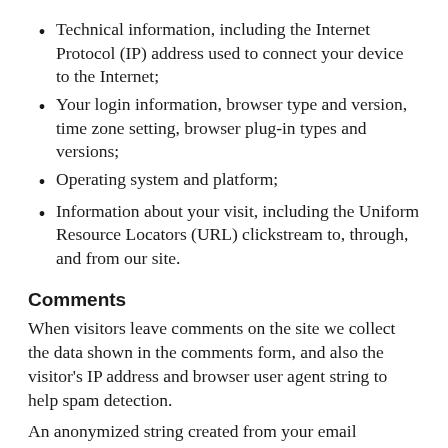Technical information, including the Internet Protocol (IP) address used to connect your device to the Internet;
Your login information, browser type and version, time zone setting, browser plug-in types and versions;
Operating system and platform;
Information about your visit, including the Uniform Resource Locators (URL) clickstream to, through, and from our site.
Comments
When visitors leave comments on the site we collect the data shown in the comments form, and also the visitor’s IP address and browser user agent string to help spam detection.
An anonymized string created from your email